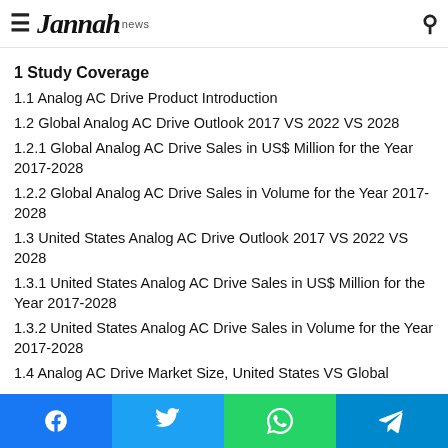≡ Jannah news [search icon]
1 Study Coverage
1.1 Analog AC Drive Product Introduction
1.2 Global Analog AC Drive Outlook 2017 VS 2022 VS 2028
1.2.1 Global Analog AC Drive Sales in US$ Million for the Year 2017-2028
1.2.2 Global Analog AC Drive Sales in Volume for the Year 2017-2028
1.3 United States Analog AC Drive Outlook 2017 VS 2022 VS 2028
1.3.1 United States Analog AC Drive Sales in US$ Million for the Year 2017-2028
1.3.2 United States Analog AC Drive Sales in Volume for the Year 2017-2028
1.4 Analog AC Drive Market Size, United States VS Global
Facebook | Twitter | WhatsApp | Telegram